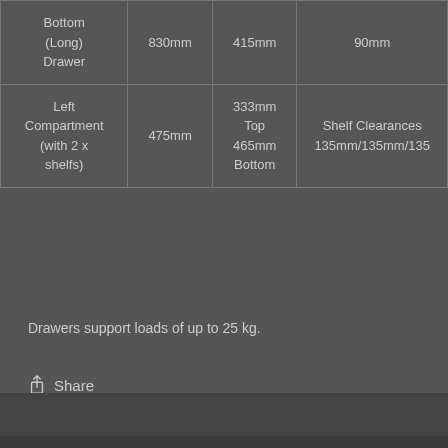| Bottom (Long) Drawer | 830mm | 415mm | 90mm |
| Left Compartment (with 2 x shelfs) | 475mm | 333mm Top
465mm Bottom | Shelf Clearances 135mm/135mm/135 |
Drawers support loads of up to 25 kg.
Share